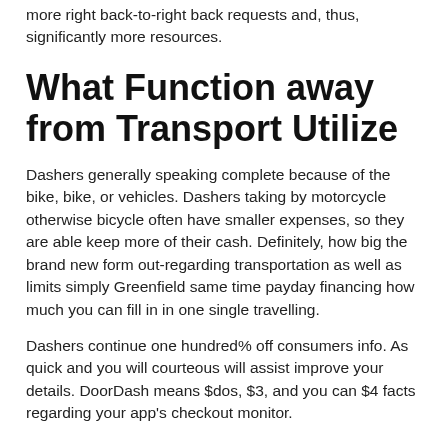more right back-to-right back requests and, thus, significantly more resources.
What Function away from Transport Utilize
Dashers generally speaking complete because of the bike, bike, or vehicles. Dashers taking by motorcycle otherwise bicycle often have smaller expenses, so they are able keep more of their cash. Definitely, how big the brand new form out-regarding transportation as well as limits simply Greenfield same time payday financing how much you can fill in in one single travelling.
Dashers continue one hundred% off consumers info. As quick and you will courteous will assist improve your details. DoorDash means $dos, $3, and you can $4 facts regarding your app's checkout monitor.